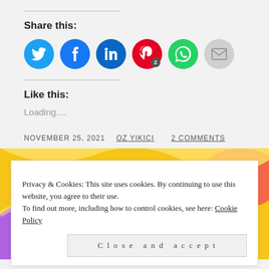Share this:
[Figure (infographic): Social sharing icons: Twitter (blue), Facebook (blue), LinkedIn (dark blue), Pinterest (red, badge '2'), WhatsApp (green), Email (gray)]
Like this:
Loading....
NOVEMBER 25, 2021  OZ YIKICI  2 COMMENTS
[Figure (illustration): Colorful abstract pattern background with yellow, pink, purple, blue colors]
Privacy & Cookies: This site uses cookies. By continuing to use this website, you agree to their use.
To find out more, including how to control cookies, see here: Cookie Policy
Close and accept